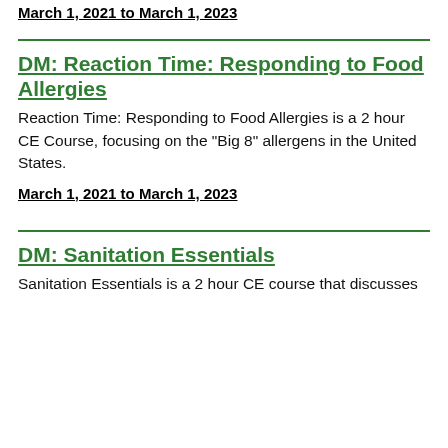March 1, 2021 to March 1, 2023
DM: Reaction Time: Responding to Food Allergies
Reaction Time: Responding to Food Allergies is a 2 hour CE Course, focusing on the "Big 8" allergens in the United States.
March 1, 2021 to March 1, 2023
DM: Sanitation Essentials
Sanitation Essentials is a 2 hour CE course that discusses the basics of food safety, sanitation, and proper cleaning and sanitizing procedures.